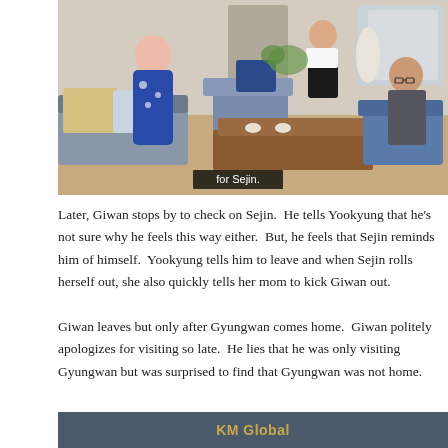[Figure (screenshot): TV drama still showing interior living room scene with a woman in a blue floral dress standing, two men seated, and another person in background. Subtitle bar reads 'for Sejin.']
Later, Giwan stops by to check on Sejin.  He tells Yookyung that he's not sure why he feels this way either.  But, he feels that Sejin reminds him of himself.  Yookyung tells him to leave and when Sejin rolls herself out, she also quickly tells her mom to kick Giwan out.
Giwan leaves but only after Gyungwan comes home.  Giwan politely apologizes for visiting so late.  He lies that he was only visiting Gyungwan but was surprised to find that Gyungwan was not home.
[Figure (screenshot): Bottom portion of a TV screen showing 'KM Global' text in gold/yellow on dark background.]